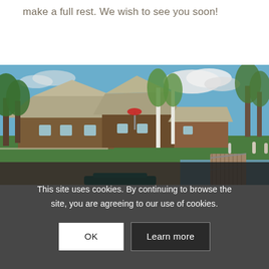make a full rest. We wish to see you soon!
[Figure (photo): Outdoor photo of a rustic countryside complex with thatched-roof wooden buildings, green lawn, birch trees, a sandy beach area, a wooden dock/pier, and people walking on a sunny day with blue sky and clouds.]
This site uses cookies. By continuing to browse the site, you are agreeing to our use of cookies.
OK
Learn more